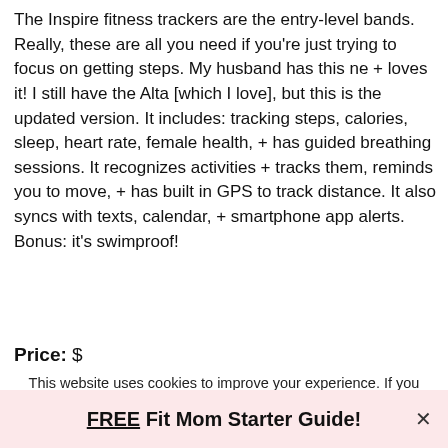The Inspire fitness trackers are the entry-level bands. Really, these are all you need if you're just trying to focus on getting steps. My husband has this ne + loves it! I still have the Alta [which I love], but this is the updated version. It includes: tracking steps, calories, sleep, heart rate, female health, + has guided breathing sessions. It recognizes activities + tracks them, reminds you to move, + has built in GPS to track distance. It also syncs with texts, calendar, + smartphone app alerts. Bonus: it's swimproof!
Price: $
FREE Fit Mom Starter Guide!
This website uses cookies to improve your experience. If you continue using this website, we'll assume you're ok with this.